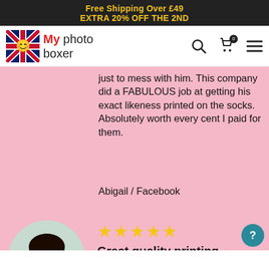Free Shipping Over £49
EXTRA 20% OFF THE 2ND
[Figure (logo): My Photo Boxer logo with UK flag icon, search icon, cart icon (0), and hamburger menu]
just to mess with him. This company did a FABULOUS job at getting his exact likeness printed on the socks. Absolutely worth every cent I paid for them.
Abigail / Facebook
[Figure (photo): Circular avatar photo of a woman with dark hair smiling, wearing orange/brown top]
★★★★★
Great quality printing.
My 17 year old niece loves whacky socks,and socks with my sons face on them(her cousin) are perfect!